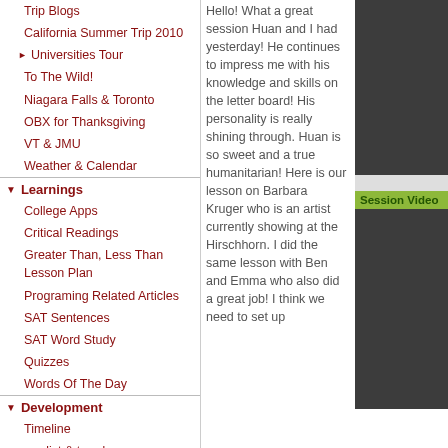Trip Blogs
California Summer Trip 2010
▶ Universities Tour
To The Wild!
Niagara Falls & Toronto
OBX for Thanksgiving
VT & JMU
Weather & Calendar
▼ Learnings
College Apps
Critical Readings
Greater Than, Less Than Lesson Plan
Programing Related Articles
SAT Sentences
SAT Word Study
Quizzes
Words Of The Day
▼ Development
Timeline
predict & trend
Sell Your Things!
▼ Huân
Journals
Hello!  What a great session Huan and I had yesterday!  He continues to impress me with his knowledge and skills on the letter board! His personality is really shining through.  Huan is so sweet and a true humanitarian!  Here is our lesson on Barbara Kruger who is an artist currently showing at the Hirschhorn.  I did the same lesson with Ben and Emma who also did a great job!  I think we need to set up
[Figure (photo): Dark gray/black rectangular area - video placeholder in upper right]
Session Video
[Figure (photo): Dark gray/black rectangular area - session video placeholder]